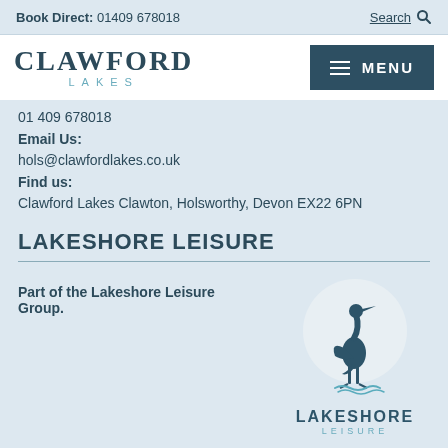Book Direct: 01409 678018  Search
[Figure (logo): Clawford Lakes logo with heron bird and MENU navigation button]
01 409 678018
Email Us:
hols@clawfordlakes.co.uk
Find us:
Clawford Lakes Clawton, Holsworthy, Devon EX22 6PN
LAKESHORE LEISURE
Part of the Lakeshore Leisure Group.
[Figure (logo): Lakeshore Leisure logo with heron bird illustration in a circle and text LAKESHORE LEISURE below]